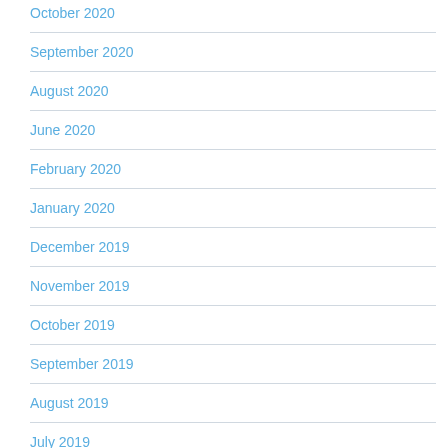October 2020
September 2020
August 2020
June 2020
February 2020
January 2020
December 2019
November 2019
October 2019
September 2019
August 2019
July 2019
June 2019
May 2019
April 2019